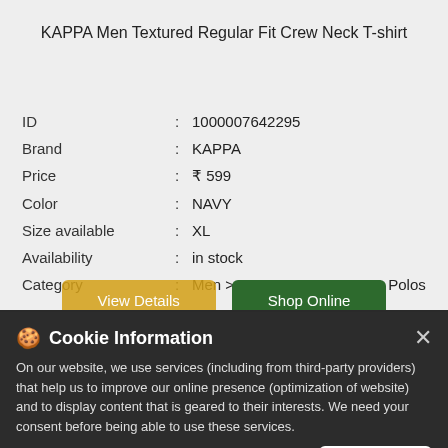KAPPA Men Textured Regular Fit Crew Neck T-shirt
| Field | : | Value |
| --- | --- | --- |
| ID | : | 1000007642295 |
| Brand | : | KAPPA |
| Price | : | ₹ 599 |
| Color | : | NAVY |
| Size available | : | XL |
| Availability | : | in stock |
| Category | : | Men > Sports Wear > Tees & Polos |
View Details | Shop Online
Cookie Information
On our website, we use services (including from third-party providers) that help us to improve our online presence (optimization of website) and to display content that is geared to their interests. We need your consent before being able to use these services.
I ACCEPT